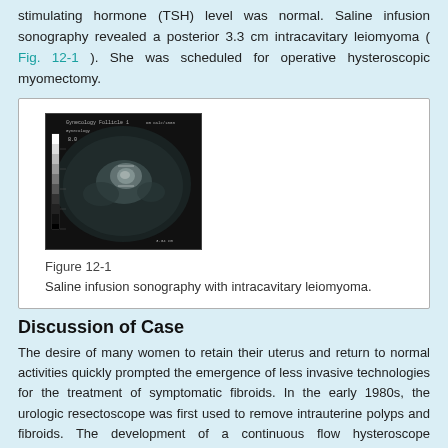stimulating hormone (TSH) level was normal. Saline infusion sonography revealed a posterior 3.3 cm intracavitary leiomyoma ( Fig. 12-1 ). She was scheduled for operative hysteroscopic myomectomy.
[Figure (photo): Ultrasound image showing saline infusion sonography with intracavitary leiomyoma. Dark background with ultrasound imaging data and measurements displayed.]
Figure 12-1
Saline infusion sonography with intracavitary leiomyoma.
Discussion of Case
The desire of many women to retain their uterus and return to normal activities quickly prompted the emergence of less invasive technologies for the treatment of symptomatic fibroids. In the early 1980s, the urologic resectoscope was first used to remove intrauterine polyps and fibroids. The development of a continuous flow hysteroscope resectoscope permitted distention of the uterine cavi...